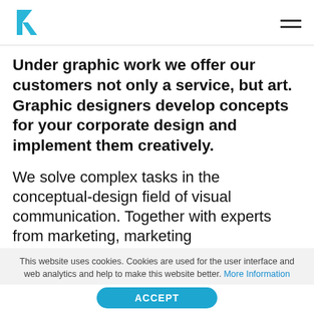R logo and hamburger menu
Under graphic work we offer our customers not only a service, but art. Graphic designers develop concepts for your corporate design and implement them creatively.
We solve complex tasks in the conceptual-design field of visual communication. Together with experts from marketing, marketing communications and public
This website uses cookies. Cookies are used for the user interface and web analytics and help to make this website better. More Information
ACCEPT